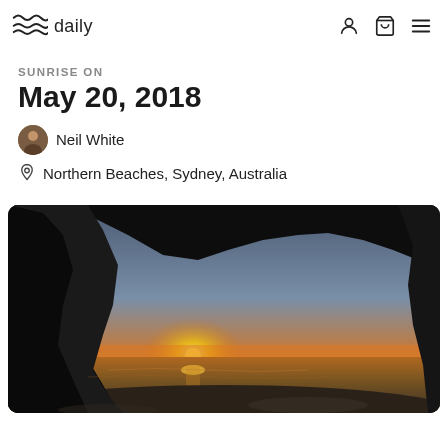daily
SUNRISE ON
May 20, 2018
Neil White
Northern Beaches, Sydney, Australia
[Figure (photo): Photograph of a sunrise over the ocean as seen from inside a cave or rock arch. The silhouette of the rocky cave frames the image. The horizon shows a bright orange and yellow sunrise with the sun just above the waterline, reflecting on the wet beach sand. The sky transitions from deep blue-grey at top to warm orange near the horizon.]